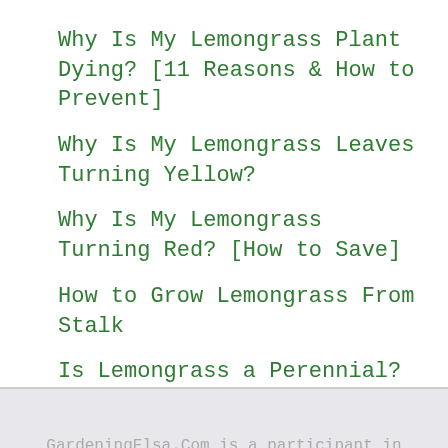Why Is My Lemongrass Plant Dying? [11 Reasons & How to Prevent]
Why Is My Lemongrass Leaves Turning Yellow?
Why Is My Lemongrass Turning Red? [How to Save]
How to Grow Lemongrass From Stalk
Is Lemongrass a Perennial?
GardeningElsa.Com is a participant in